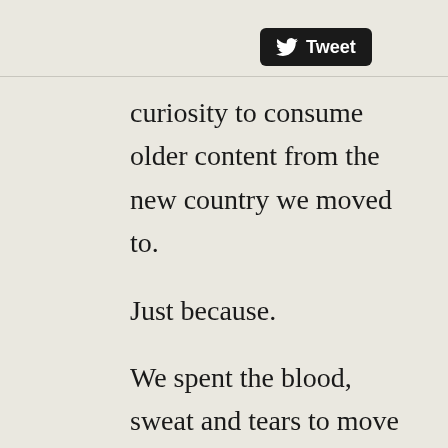[Figure (logo): Twitter Tweet button with bird logo, black rounded rectangle]
curiosity to consume older content from the new country we moved to.
Just because.
We spent the blood, sweat and tears to move to your country and we have an interest in learning MORE about it and some of the older cultural shit